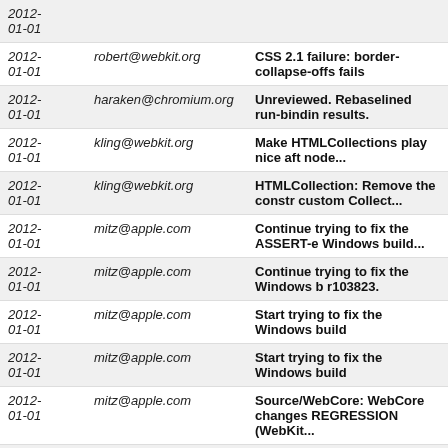| Date | Email | Description |
| --- | --- | --- |
| 2012-01-01 |  | 01-01 |
| 2012-01-01 | robert@webkit.org | CSS 2.1 failure: border-collapse-offs fails |
| 2012-01-01 | haraken@chromium.org | Unreviewed. Rebaselined run-bindin results. |
| 2012-01-01 | kling@webkit.org | Make HTMLCollections play nice aft node... |
| 2012-01-01 | kling@webkit.org | HTMLCollection: Remove the constr custom Collect... |
| 2012-01-01 | mitz@apple.com | Continue trying to fix the ASSERT-e Windows build... |
| 2012-01-01 | mitz@apple.com | Continue trying to fix the Windows b r103823. |
| 2012-01-01 | mitz@apple.com | Start trying to fix the Windows build |
| 2012-01-01 | mitz@apple.com | Start trying to fix the Windows build |
| 2012-01-01 | mitz@apple.com | Source/WebCore: WebCore changes REGRESSION (WebKit... |
| 2012-01-01 | mitz@apple.com | MiniBrowser sets the WKView's fran |